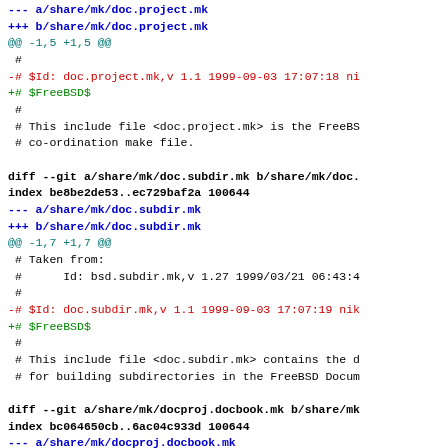--- a/share/mk/doc.project.mk
+++ b/share/mk/doc.project.mk
@@ -1,5 +1,5 @@
 #
-# $Id: doc.project.mk,v 1.1 1999-09-03 17:07:18 ni
+# $FreeBSD$
 #
 # This include file <doc.project.mk> is the FreeBS
 # co-ordination make file.

diff --git a/share/mk/doc.subdir.mk b/share/mk/doc.
index be8be2de53..ec729baf2a 100644
--- a/share/mk/doc.subdir.mk
+++ b/share/mk/doc.subdir.mk
@@ -1,7 +1,7 @@
 # Taken from:
 #      Id: bsd.subdir.mk,v 1.27 1999/03/21 06:43:4
 #
-# $Id: doc.subdir.mk,v 1.1 1999-09-03 17:07:19 nik
+# $FreeBSD$
 #
 # This include file <doc.subdir.mk> contains the d
 # for building subdirectories in the FreeBSD Docum

diff --git a/share/mk/docproj.docbook.mk b/share/mk
index bc064650cb..6ac04c933d 100644
--- a/share/mk/docproj.docbook.mk
+++ b/share/mk/docproj.docbook.mk
@@ -1,5 +1,5 @@
 #
 # $Id: docproj.docbook.mk,v 1.11 1999-09-03 03:58